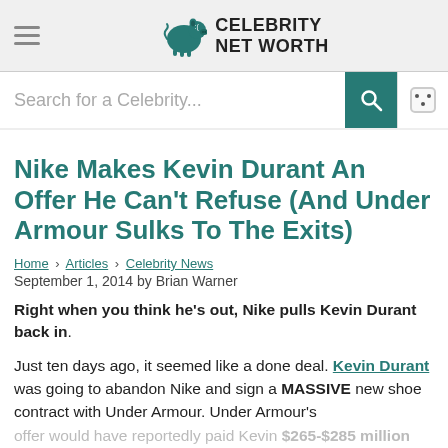Celebrity Net Worth
Nike Makes Kevin Durant An Offer He Can't Refuse (And Under Armour Sulks To The Exits)
Home › Articles › Celebrity News
September 1, 2014 by Brian Warner
Right when you think he's out, Nike pulls Kevin Durant back in.
Just ten days ago, it seemed like a done deal. Kevin Durant was going to abandon Nike and sign a MASSIVE new shoe contract with Under Armour. Under Armour's offer would have reportedly paid Kevin $265-$285 million over the next 10 years. That's a ginormous pay...